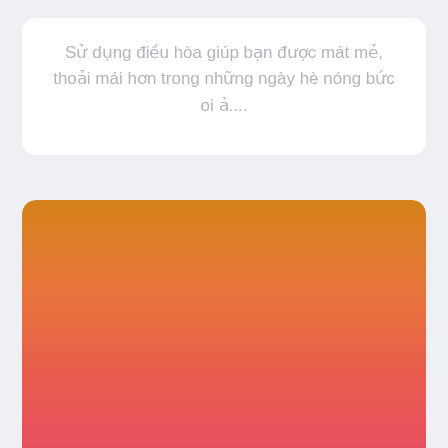Sử dụng điều hòa giúp bạn được mát mẻ, thoải mái hơn trong những ngày hè nóng bức oi ả....
[Figure (illustration): A large rounded rectangle card with an orange-to-red gradient background, transitioning from orange-brown at the top to coral red at the bottom.]